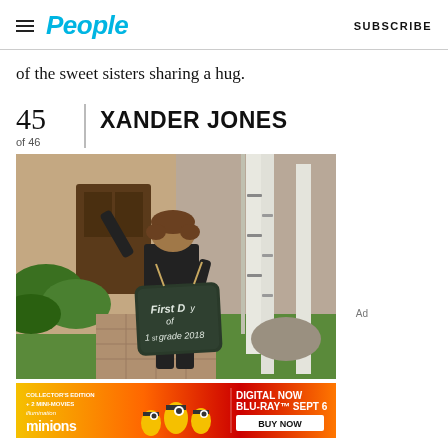People | SUBSCRIBE
of the sweet sisters sharing a hug.
45 of 46 | XANDER JONES
[Figure (photo): A child in a black jacket and red shirt holding a chalkboard sign reading 'First Day of 1st grade 2018', doing a pose with one arm raised, standing outside a house with trees and grass in the background.]
[Figure (infographic): Minions: The Rise of Gru advertisement banner. Collector's Edition + 2 Mini-Movies. Digital Now, Blu-Ray Sept 6, Buy Now.]